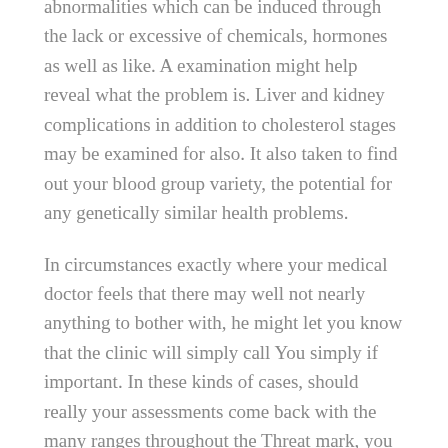abnormalities which can be induced through the lack or excessive of chemicals, hormones as well as like. A examination might help reveal what the problem is. Liver and kidney complications in addition to cholesterol stages may be examined for also. It also taken to find out your blood group variety, the potential for any genetically similar health problems.
In circumstances exactly where your medical doctor feels that there may well not nearly anything to bother with, he might let you know that the clinic will simply call You simply if important. In these kinds of cases, should really your assessments come back with the many ranges throughout the Threat mark, you should not fear an excessive amount of.
Filed under: Business